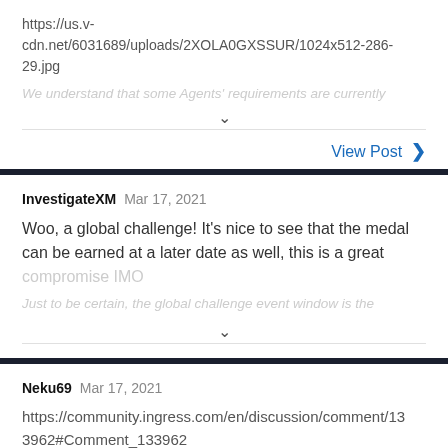https://us.v-cdn.net/6031689/uploads/2XOLA0GXSSUR/1024x512-286-29.jpg
We understand that some Agents' requirements and currently
View Post >
InvestigateXM  Mar 17, 2021
Woo, a global challenge! It's nice to see that the medal can be earned at a later date as well, this is a great compromise IMO
Just to be certain, the global challenge event window is the
Neku69  Mar 17, 2021
https://community.ingress.com/en/discussion/comment/133962#Comment_133962